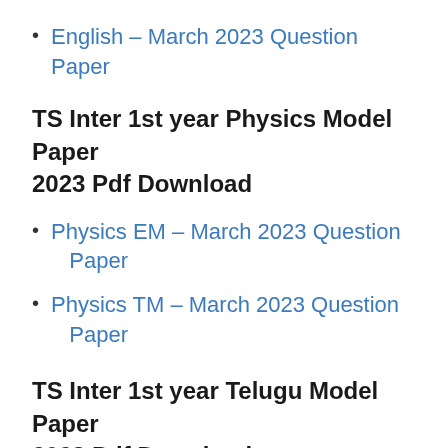English – March 2023 Question Paper
TS Inter 1st year Physics Model Paper 2023 Pdf Download
Physics EM – March 2023 Question Paper
Physics TM – March 2023 Question Paper
TS Inter 1st year Telugu Model Paper 2023 Pdf Download